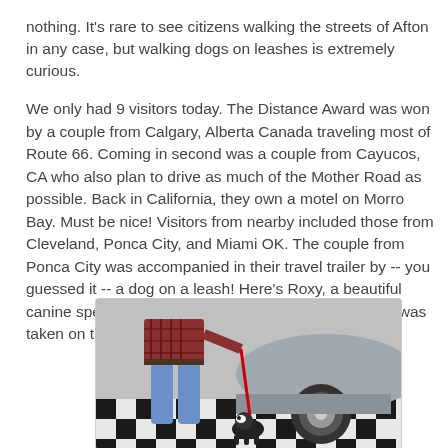nothing. It's rare to see citizens walking the streets of Afton in any case, but walking dogs on leashes is extremely curious.
We only had 9 visitors today. The Distance Award was won by a couple from Calgary, Alberta Canada traveling most of Route 66. Coming in second was a couple from Cayucos, CA who also plan to drive as much of the Mother Road as possible. Back in California, they own a motel on Morro Bay. Must be nice! Visitors from nearby included those from Cleveland, Ponca City, and Miami OK. The couple from Ponca City was accompanied in their travel trailer by -- you guessed it -- a dog on a leash! Here's Roxy, a beautiful canine specimen. He is extremely camera shy, so this was taken on the run.
[Figure (photo): A person in jeans and a plaid shirt standing next to a vintage silver car, holding a red leash attached to a small black and white dog (Roxy). The floor is a black and white checkered pattern.]